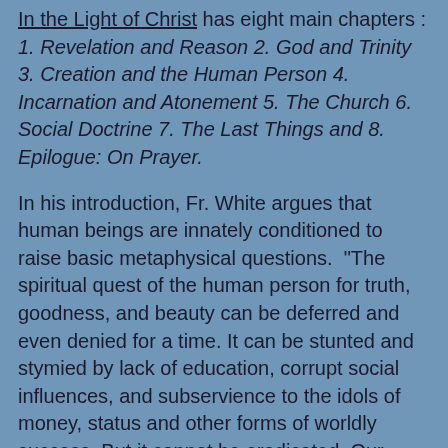In the Light of Christ has eight main chapters : 1. Revelation and Reason 2. God and Trinity 3. Creation and the Human Person 4. Incarnation and Atonement 5. The Church 6. Social Doctrine 7. The Last Things and 8. Epilogue: On Prayer.
In his introduction, Fr. White argues that human beings are innately conditioned to raise basic metaphysical questions. "The spiritual quest of the human person for truth, goodness, and beauty can be deferred and even denied for a time. It can be stunted and stymied by lack of education, corrupt social influences, and subservience to the idols of money, status and other forms of worldly success. But it cannot be eradicated. Our souls will not be satisfied with mere information, as if our hunger for knowledge could be quelled by uploading data. Google provides endless facts, available in an instant. But we want understanding, insight, and wisdom. We want to know why and what for. We wish to perceive all in the unending light of what is and cannot not be. Our hearts are restless with the desire to know the truth."
Fr. White then articulates the major purpose of In the Light of